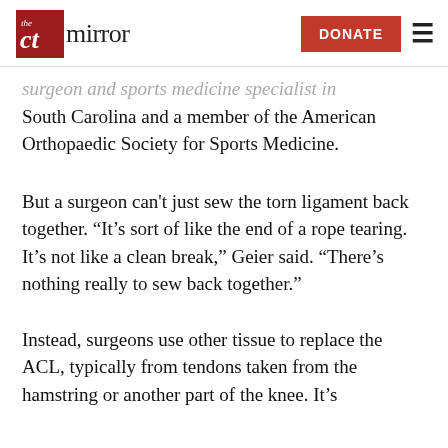the mirror — DONATE
surgeon and sports medicine specialist in South Carolina and a member of the American Orthopaedic Society for Sports Medicine.
But a surgeon can't just sew the torn ligament back together. “It’s sort of like the end of a rope tearing. It’s not like a clean break,” Geier said. “There’s nothing really to sew back together.”
Instead, surgeons use other tissue to replace the ACL, typically from tendons taken from the hamstring or another part of the knee. It’s